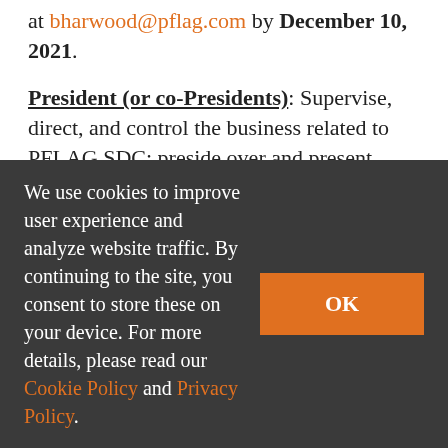at bharwood@pflag.com by December 10, 2021.
President (or co-Presidents): Supervise, direct, and control the business related to PFLAG SDC; preside over and present report at board meetings; attend community outreach events, public speaking engagements; public relation contact and networking.
Vice-President: In the absence of the president, perform all the duties of the president; assist president in carrying out duties; attend board
We use cookies to improve user experience and analyze website traffic. By continuing to the site, you consent to store these on your device. For more details, please read our Cookie Policy and Privacy Policy.